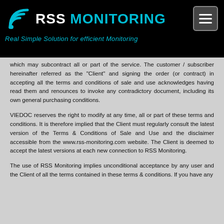RSS MONITORING — Real Simple Solution for efficient Monitoring
which may subcontract all or part of the service. The customer / subscriber hereinafter referred as the "Client" and signing the order (or contract) in accepting all the terms and conditions of sale and use acknowledges having read them and renounces to invoke any contradictory document, including its own general purchasing conditions.
VIEDOC reserves the right to modify at any time, all or part of these terms and conditions. It is therefore implied that the Client must regularly consult the latest version of the Terms & Conditions of Sale and Use and the disclaimer accessible from the www.rss-monitoring.com website. The Client is deemed to accept the latest versions at each new connection to RSS Monitoring.
The use of RSS Monitoring implies unconditional acceptance by any user and the Client of all the terms contained in these terms & conditions. If you have any